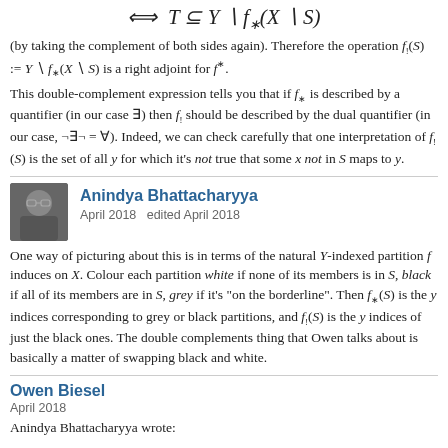(by taking the complement of both sides again). Therefore the operation f_!(S) := Y \ f_*(X \ S) is a right adjoint for f*.
This double-complement expression tells you that if f_* is described by a quantifier (in our case ∃) then f_! should be described by the dual quantifier (in our case, ¬∃¬ = ∀). Indeed, we can check carefully that one interpretation of f_!(S) is the set of all y for which it's not true that some x not in S maps to y.
Anindya Bhattacharyya
April 2018   edited April 2018
One way of picturing about this is in terms of the natural Y-indexed partition f induces on X. Colour each partition white if none of its members is in S, black if all of its members are in S, grey if it's "on the borderline". Then f_*(S) is the y indices corresponding to grey or black partitions, and f_!(S) is the y indices of just the black ones. The double complements thing that Owen talks about is basically a matter of swapping black and white.
Owen Biesel
April 2018
Anindya Bhattacharyya wrote: